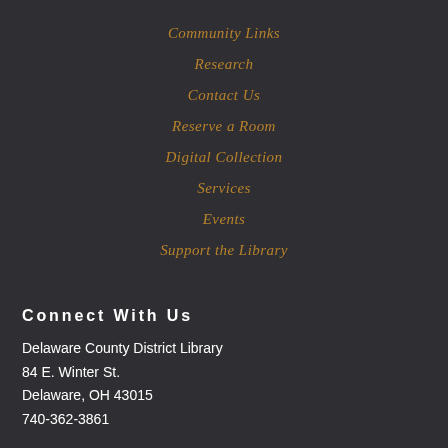Community Links
Research
Contact Us
Reserve a Room
Digital Collection
Services
Events
Support the Library
Connect With Us
Delaware County District Library
84 E. Winter St.
Delaware, OH 43015
740-362-3861